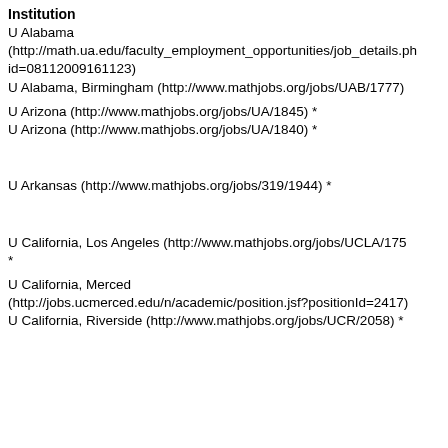Institution
U Alabama (http://math.ua.edu/faculty_employment_opportunities/job_details.php?id=08112009161123)
U Alabama, Birmingham (http://www.mathjobs.org/jobs/UAB/1777)
U Arizona (http://www.mathjobs.org/jobs/UA/1845) *
U Arizona (http://www.mathjobs.org/jobs/UA/1840) *
U Arkansas (http://www.mathjobs.org/jobs/319/1944) *
U California, Los Angeles (http://www.mathjobs.org/jobs/UCLA/175 *
U California, Merced (http://jobs.ucmerced.edu/n/academic/position.jsf?positionId=2417)
U California, Riverside (http://www.mathjobs.org/jobs/UCR/2058) *